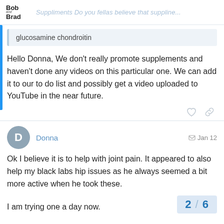Bob and Brad — Suppliments Do you fellas believe that suppline...
glucosamine chondroitin
Hello Donna, We don't really promote supplements and haven't done any videos on this particular one. We can add it to our to do list and possibly get a video uploaded to YouTube in the near future.
Donna  Jan 12
Ok I believe it is to help with joint pain. It appeared to also help my black labs hip issues as he always seemed a bit more active when he took these.
I am trying one a day now.
2 / 6